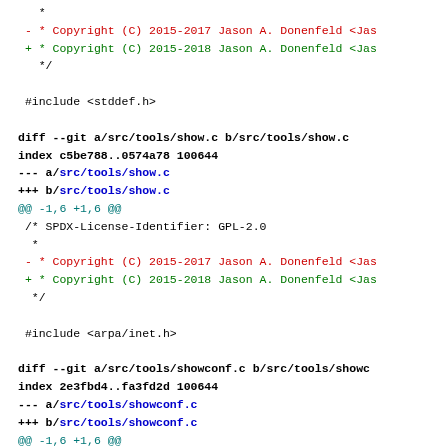diff --git a/src/tools/show.c b/src/tools/show.c (continued context)
code diff showing copyright year changes from 2015-2017 to 2015-2018 in show.c and showconf.c